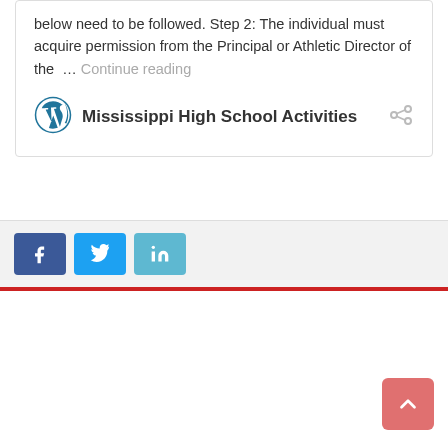below need to be followed. Step 2: The individual must acquire permission from the Principal or Athletic Director of the … Continue reading
Mississippi High School Activities
[Figure (logo): WordPress logo - blue circular globe icon]
[Figure (infographic): Social share buttons: Facebook (blue), Twitter (light blue), LinkedIn (teal/light blue)]
[Figure (other): Back to top button - salmon/pink rounded square with upward chevron arrow]